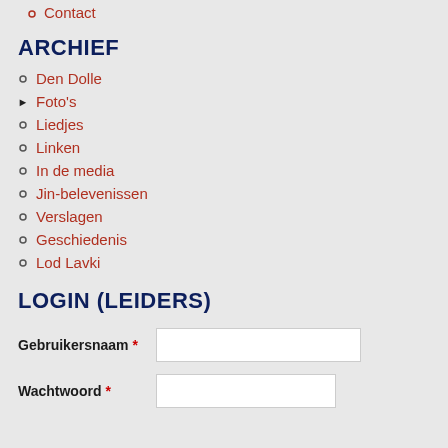Contact
ARCHIEF
Den Dolle
Foto's
Liedjes
Linken
In de media
Jin-belevenissen
Verslagen
Geschiedenis
Lod Lavki
LOGIN (LEIDERS)
Gebruikersnaam *
Wachtwoord *